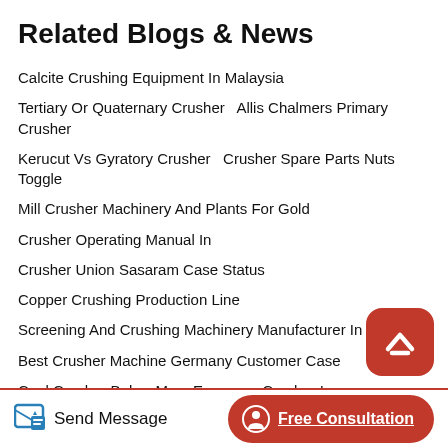Related Blogs & News
Calcite Crushing Equipment In Malaysia
Tertiary Or Quaternary Crusher   Allis Chalmers Primary Crusher
Kerucut Vs Gyratory Crusher   Crusher Spare Parts Nuts Toggle
Mill Crusher Machinery And Plants For Gold
Crusher Operating Manual In
Crusher Union Sasaram Case Status
Copper Crushing Production Line
Screening And Crushing Machinery Manufacturer In Germany
Best Crusher Machine Germany Customer Case
Coal Crusher Below Mm   European Crusher In Turkeyuganda
Small Crushers For Gold Mining Amazon